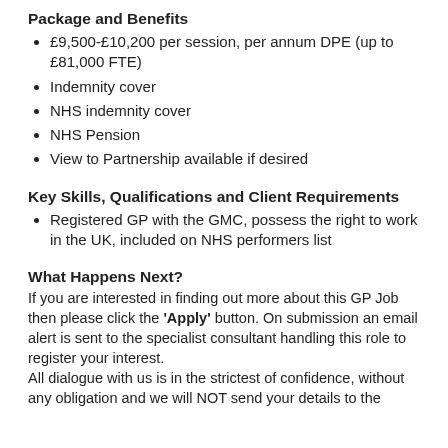Package and Benefits
£9,500-£10,200 per session, per annum DPE (up to £81,000 FTE)
Indemnity cover
NHS indemnity cover
NHS Pension
View to Partnership available if desired
Key Skills, Qualifications and Client Requirements
Registered GP with the GMC, possess the right to work in the UK, included on NHS performers list
What Happens Next?
If you are interested in finding out more about this GP Job then please click the 'Apply' button. On submission an email alert is sent to the specialist consultant handling this role to register your interest.
All dialogue with us is in the strictest of confidence, without any obligation and we will NOT send your details to the practice without your prior consent.